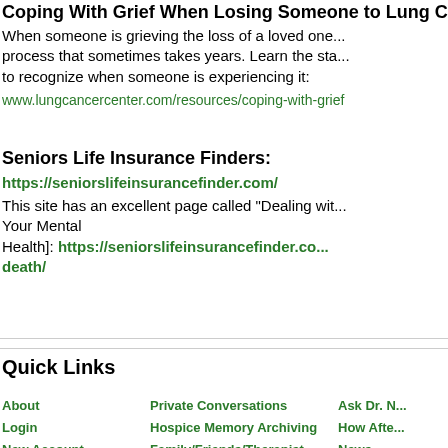Coping With Grief When Losing Someone to Lung Ca...
When someone is grieving the loss of a loved one... process that sometimes takes years. Learn the sta... to recognize when someone is experiencing it:
www.lungcancercenter.com/resources/coping-with-grief
Seniors Life Insurance Finders:
https://seniorslifeinsurancefinder.com/
This site has an excellent page called "Dealing wit... Your Mental Health]: https://seniorslifeinsurancefinder.com/...death/
Quick Links
About
Login
New Account
Private Conversations
Hospice Memory Archiving
Family/Friends/Therapist
Ask Dr. N...
How Afte...
News...